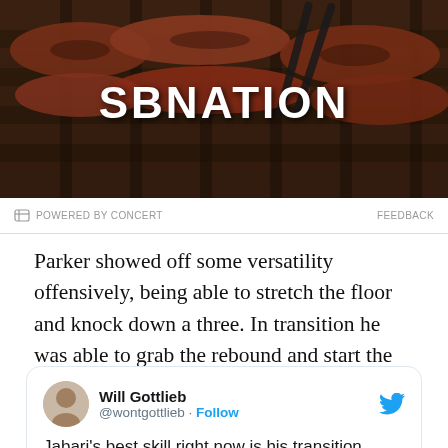[Figure (photo): SBNation advertisement banner showing a grill with meat cooking, with the SBNation logo overlaid in white text]
POWERED BY CONCERT   FEEDBACK
Parker showed off some versatility offensively, being able to stretch the floor and knock down a three. In transition he was able to grab the rebound and start the break on his own. This was where Parker really played well, he was able to catch the Pelicans defense off guard at times, leading to easy baskets.
Will Gottlieb @wontgottlieb · Follow
Jabari's best skill right now is his transition scoring. Froze the defense with the in and out dribble and finished with a finger role